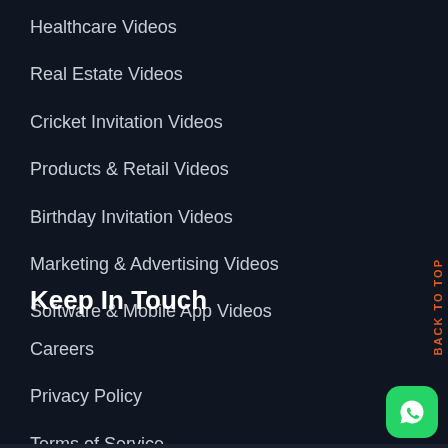Healthcare Videos
Real Estate Videos
Cricket Invitation Videos
Products & Retail Videos
Birthday Invitation Videos
Marketing & Advertising Videos
Software & Mobile App Videos
Keep In Touch
Careers
Privacy Policy
Terms of Service
[Figure (illustration): WhatsApp contact button icon in green rounded square, bottom right corner]
BACK TO TOP